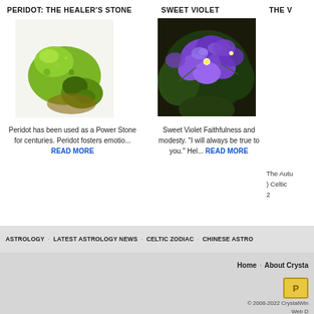PERIDOT: THE HEALER'S STONE
[Figure (photo): Photo of green peridot gemstones]
Peridot has been used as a Power Stone for centuries. Peridot fosters emotio... READ MORE
SWEET VIOLET
[Figure (photo): Photo of sweet violet purple flowers]
Sweet Violet Faithfulness and modesty. "I will always be true to you." Hel... READ MORE
THE ...
The Autu ) Celtic 2
ASTROLOGY · LATEST ASTROLOGY NEWS · CELTIC ZODIAC · CHINESE ASTRO
Home · About Crysta
© 2008-2022 CrystalWin Web ...